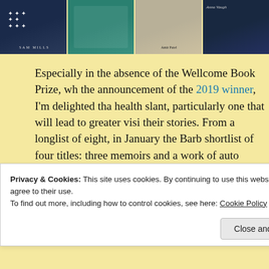[Figure (photo): Top strip of four book covers cropped at top: dark blue book with white feather motifs and 'Sam Mills' text, teal/green medical-themed cover, light colored cover with 'Amir Patel' text, dark blue cover with 'Anna Vaugh' text visible]
Especially in the absence of the Wellcome Book Prize, wh the announcement of the 2019 winner, I’m delighted tha health slant, particularly one that will lead to greater visi their stories. From a longlist of eight, in January the Barb shortlist of four titles: three memoirs and a work of auto agreed to send me the shortlist for review. Two have arriv postal delays in the UK, as in many places).
[Figure (photo): Partial image of book covers on a wooden surface, cropped]
Privacy & Cookies: This site uses cookies. By continuing to use this website, you agree to their use.
To find out more, including how to control cookies, see here: Cookie Policy
Close and accept